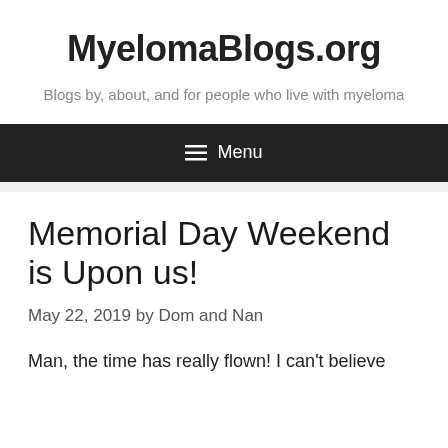MyelomaBlogs.org
Blogs by, about, and for people who live with myeloma
Menu
Memorial Day Weekend is Upon us!
May 22, 2019 by Dom and Nan
Man, the time has really flown!  I can't believe